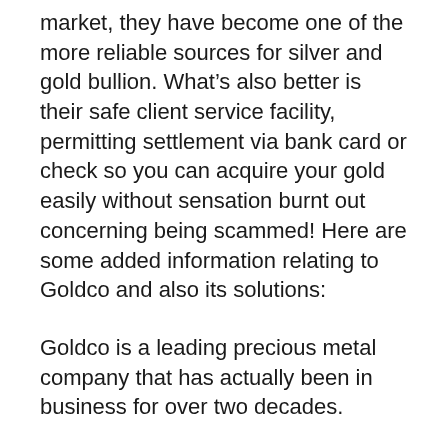market, they have become one of the more reliable sources for silver and gold bullion. What’s also better is their safe client service facility, permitting settlement via bank card or check so you can acquire your gold easily without sensation burnt out concerning being scammed! Here are some added information relating to Goldco and also its solutions:
Goldco is a leading precious metal company that has actually been in business for over two decades.
They offer a safe client service facility that enables customers to pay through bank card or check.
Goldco believes that your money ought to be